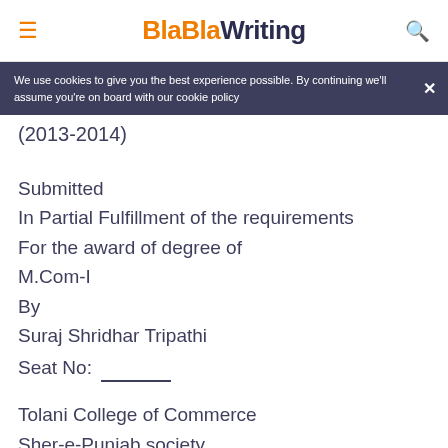BlaBlaWriting
We use cookies to give you the best experience possible. By continuing we'll assume you're on board with our cookie policy
(2013-2014)
Submitted
In Partial Fulfillment of the requirements
For the award of degree of
M.Com-I
By
Suraj Shridhar Tripathi
Seat No: ________
Tolani College of Commerce
Sher-e-Punjab society,
Andheri (East),
Mumbai-400 093